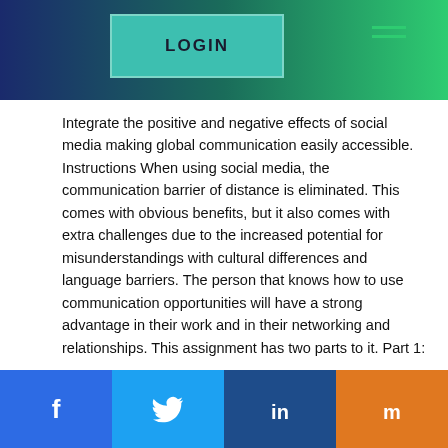LOGIN
Integrate the positive and negative effects of social media making global communication easily accessible. Instructions When using social media, the communication barrier of distance is eliminated. This comes with obvious benefits, but it also comes with extra challenges due to the increased potential for misunderstandings with cultural differences and language barriers. The person that knows how to use communication opportunities will have a strong advantage in their work and in their networking and relationships. This assignment has two parts to it. Part 1: Locate and study social media pages of businesses that are making an effort to market their product globally.Â You can use any social media platform you choose. Examine what you believe the companies are doing well and what can be improved. Look for ways in which their communication are clear to a large number of people, breaking through language and cultural barriers. Also look for ways in which the pages could be
Social share buttons: Facebook, Twitter, LinkedIn, Mix